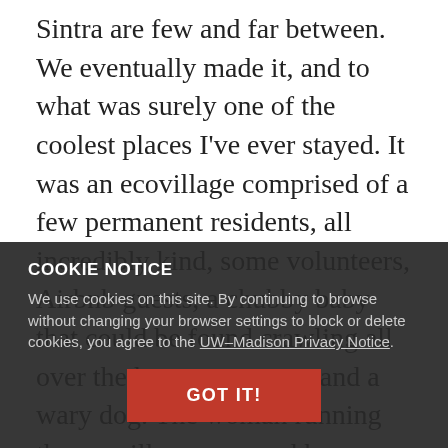Sintra are few and far between. We eventually made it, and to what was surely one of the coolest places I've ever stayed. It was an ecovillage comprised of a few permanent residents, all incredibly kind, some volunteers, Airbnb guests, a chubby baby that could be found crawling all over the house, two cats, and a wary dog. The woman running the ecovillage prepared huge vegetarian buffets for dinner every night for only 6 euro, served with wine too. We stayed up talking with the other
COOKIE NOTICE
We use cookies on this site. By continuing to browse without changing your browser settings to block or delete cookies, you agree to the UW–Madison Privacy Notice.
GOT IT!